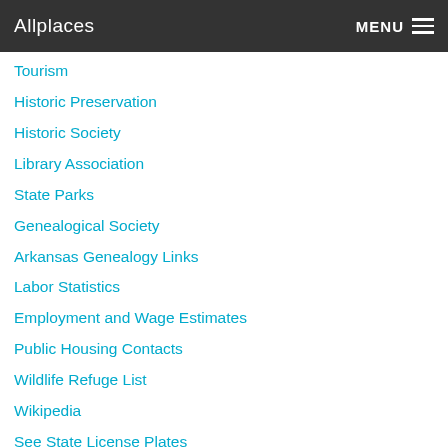Allplaces   MENU
Tourism
Historic Preservation
Historic Society
Library Association
State Parks
Genealogical Society
Arkansas Genealogy Links
Labor Statistics
Employment and Wage Estimates
Public Housing Contacts
Wildlife Refuge List
Wikipedia
See State License Plates
National Parks Guide
AR Gas Prices - GasBuddy